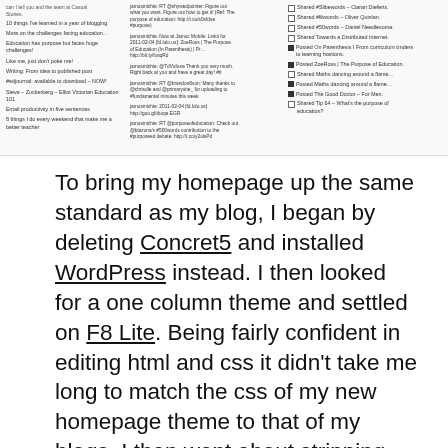[Figure (screenshot): Screenshot of a blog/social media interface showing three columns: left column with blog post titles, middle column with tweets/social media posts, right column with shared/posted activity feed items.]
To bring my homepage up the same standard as my blog, I began by deleting Concret5 and installed WordPress instead. I then looked for a one column theme and settled on F8 Lite. Being fairly confident in editing html and css it didn't take me long to match the css of my new homepage theme to that of my blogs. I then went about stripping many of the features from the header and footer sections. I made use of the themes widget placement being at the bottom to add my blog feed, tweets and lifestream. In the settings I